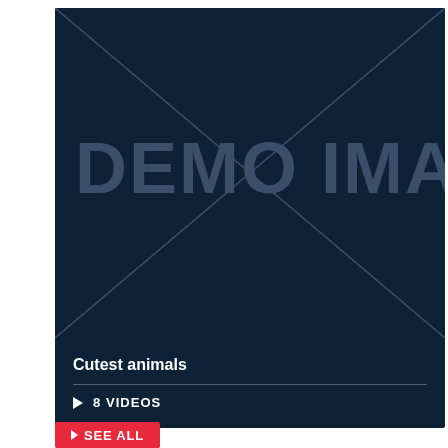[Figure (illustration): Dark navy blue card with DEMO IMAGE placeholder watermark text and X cross lines overlaid, representing a placeholder image thumbnail for a video playlist titled 'Cutest animals']
Cutest animals
▷ 8 VIDEOS
> SEE ALL